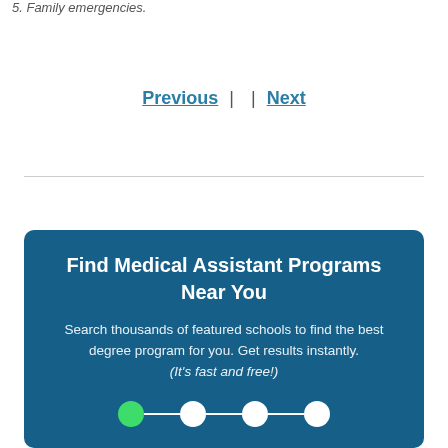5. Family emergencies.
Previous  |  | Next
Find Medical Assistant Programs Near You
Search thousands of featured schools to find the best degree program for you. Get results instantly. (It's fast and free!)
[Figure (infographic): A progress indicator with four circles connected by lines. The first circle is green, the remaining three are white, on a dark blue background.]